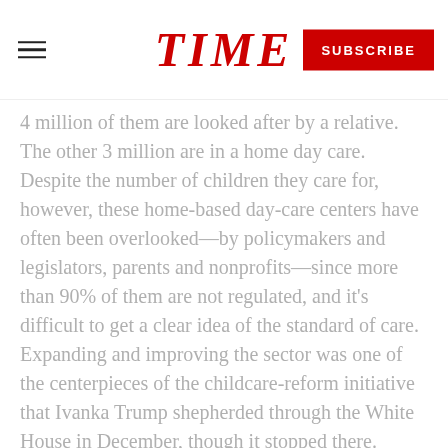TIME | SUBSCRIBE
4 million of them are looked after by a relative. The other 3 million are in a home day care. Despite the number of children they care for, however, these home-based day-care centers have often been overlooked—by policymakers and legislators, parents and nonprofits—since more than 90% of them are not regulated, and it's difficult to get a clear idea of the standard of care. Expanding and improving the sector was one of the centerpieces of the childcare-reform initiative that Ivanka Trump shepherded through the White House in December, though it stopped there.